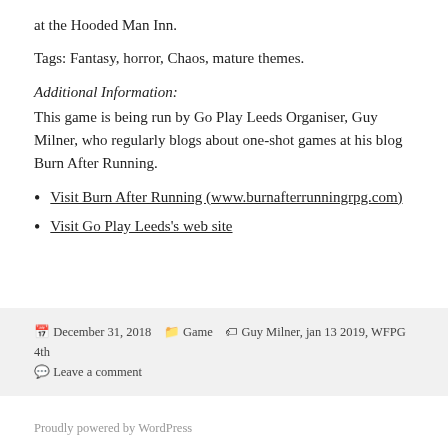at the Hooded Man Inn.
Tags: Fantasy, horror, Chaos, mature themes.
Additional Information:
This game is being run by Go Play Leeds Organiser, Guy Milner, who regularly blogs about one-shot games at his blog Burn After Running.
Visit Burn After Running (www.burnafterrunningrpg.com)
Visit Go Play Leeds's web site
December 31, 2018   Game   Guy Milner, jan 13 2019, WFPG 4th   Leave a comment
Proudly powered by WordPress